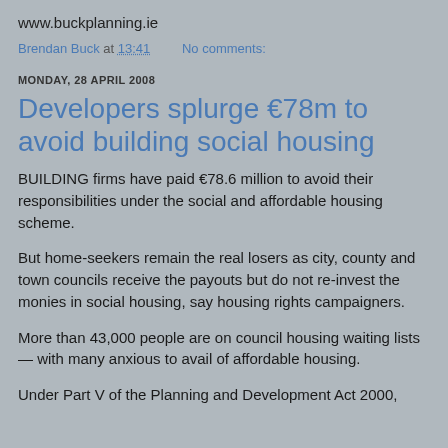www.buckplanning.ie
Brendan Buck at 13:41    No comments:
MONDAY, 28 APRIL 2008
Developers splurge €78m to avoid building social housing
BUILDING firms have paid €78.6 million to avoid their responsibilities under the social and affordable housing scheme.
But home-seekers remain the real losers as city, county and town councils receive the payouts but do not re-invest the monies in social housing, say housing rights campaigners.
More than 43,000 people are on council housing waiting lists — with many anxious to avail of affordable housing.
Under Part V of the Planning and Development Act 2000,